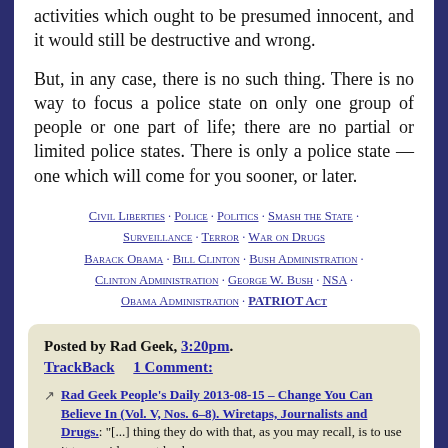activities which ought to be presumed innocent, and it would still be destructive and wrong.
But, in any case, there is no such thing. There is no way to focus a police state on only one group of people or one part of life; there are no partial or limited police states. There is only a police state — one which will come for you sooner, or later.
Civil Liberties · Police · Politics · Smash the State · Surveillance · Terror · War on Drugs · Barack Obama · Bill Clinton · Bush Administration · Clinton Administration · George W. Bush · NSA · Obama Administration · PATRIOT Act
Posted by Rad Geek, 3:20pm. TrackBack   1 Comment:
Rad Geek People's Daily 2013-08-15 – Change You Can Believe In (Vol. V, Nos. 6–8). Wiretaps, Journalists and Drugs.: "[...] thing they do with that, as you may recall, is to use it to provide secret leads